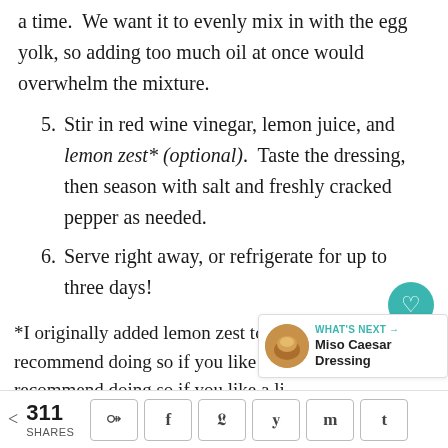a time.  We want it to evenly mix in with the egg yolk, so adding too much oil at once would overwhelm the mixture.
5. Stir in red wine vinegar, lemon juice, and lemon zest* (optional).  Taste the dressing, then season with salt and freshly cracked pepper as needed.
6. Serve right away, or refrigerate for up to three days!
*I originally added lemon zest to this recipe, highly recommend doing so if you like a little extra
311 SHARES [share buttons]